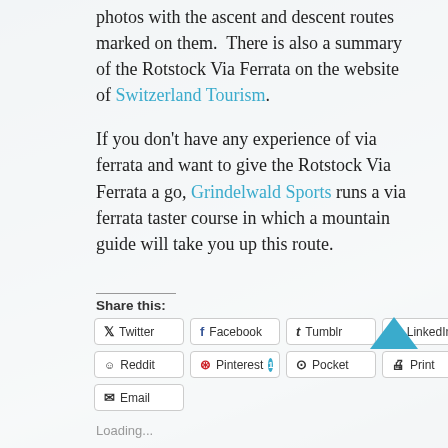photos with the ascent and descent routes marked on them.  There is also a summary of the Rotstock Via Ferrata on the website of Switzerland Tourism.

If you don't have any experience of via ferrata and want to give the Rotstock Via Ferrata a go, Grindelwald Sports runs a via ferrata taster course in which a mountain guide will take you up this route.
Share this:
Twitter  Facebook  Tumblr  LinkedIn  Reddit  Pinterest 1  Pocket  Print  Email
Loading...